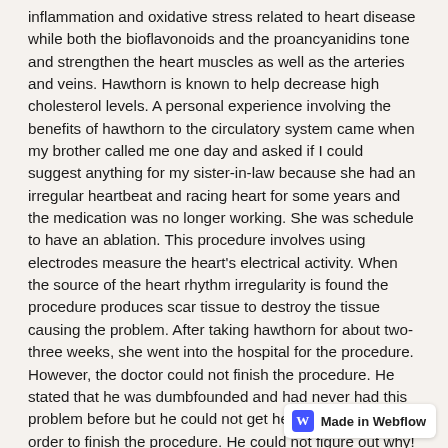inflammation and oxidative stress related to heart disease while both the bioflavonoids and the proancyanidins tone and strengthen the heart muscles as well as the arteries and veins. Hawthorn is known to help decrease high cholesterol levels. A personal experience involving the benefits of hawthorn to the circulatory system came when my brother called me one day and asked if I could suggest anything for my sister-in-law because she had an irregular heartbeat and racing heart for some years and the medication was no longer working. She was schedule to have an ablation. This procedure involves using electrodes measure the heart's electrical activity. When the source of the heart rhythm irregularity is found the procedure produces scar tissue to destroy the tissue causing the problem. After taking hawthorn for about two-three weeks, she went into the hospital for the procedure. However, the doctor could not finish the procedure. He stated that he was dumbfounded and had never had this problem before but he could not get her heart to race in order to finish the procedure. He could not figure out why! She then informed him she had been taking herbs to help her heart. Hawthorn or coincidence? With her long history of this heart issue, I can't help but believe hawthorn was helping her heart. Another great use for h... explained to me by David Winston in one of his monthly Herbal...